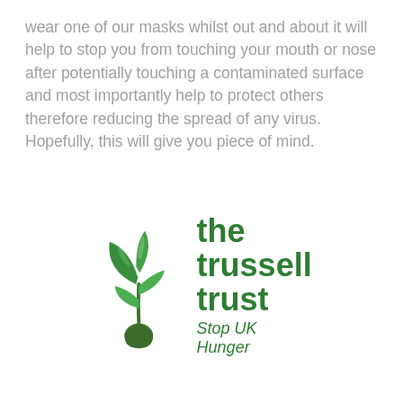wear one of our masks whilst out and about it will help to stop you from touching your mouth or nose after potentially touching a contaminated surface and most importantly help to protect others therefore reducing the spread of any virus. Hopefully, this will give you piece of mind.
[Figure (logo): The Trussell Trust logo — a green plant/seedling with leaves above a green teardrop shape, beside the text 'the trussell trust' in bold green and 'Stop UK Hunger' in italic green below.]